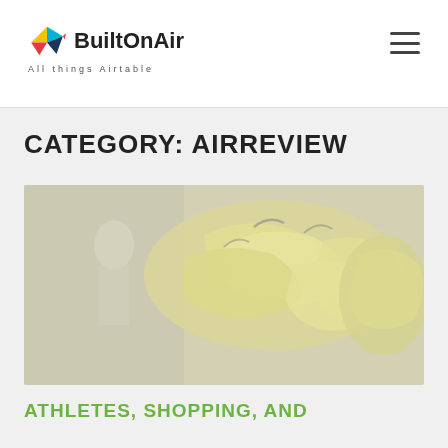BuiltOnAir — All things Airtable
CATEGORY: AIRREVIEW
[Figure (photo): A photo of yellow bananas on display in a grocery store, slightly faded/washed out overlay effect]
ATHLETES, SHOPPING, AND